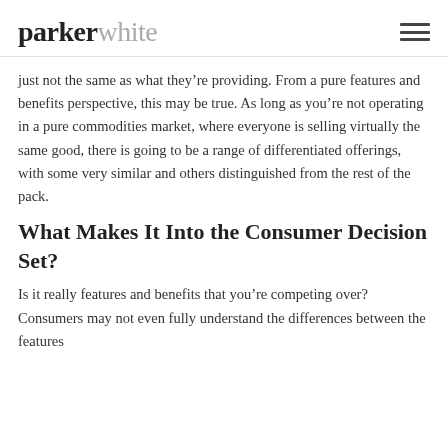parkerwhite
just not the same as what they’re providing. From a pure features and benefits perspective, this may be true. As long as you’re not operating in a pure commodities market, where everyone is selling virtually the same good, there is going to be a range of differentiated offerings, with some very similar and others distinguished from the rest of the pack.
What Makes It Into the Consumer Decision Set?
Is it really features and benefits that you’re competing over? Consumers may not even fully understand the differences between the features